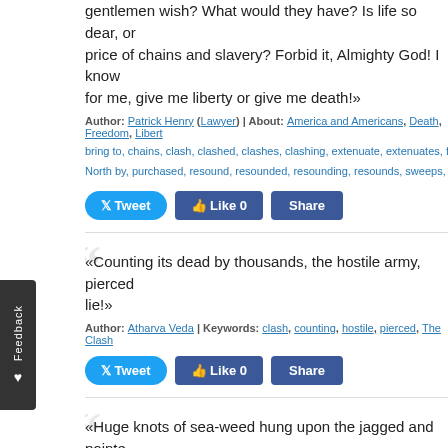gentlemen wish? What would they have? Is life so dear, or price of chains and slavery? Forbid it, Almighty God! I know for me, give me liberty or give me death!»
Author: Patrick Henry (Lawyer) | About: America and Americans, Death, Freedom, Libert bring to, chains, clash, clashed, clashes, clashing, extenuate, extenuates, forbid, gale, gales, North by, purchased, resound, resounded, resounding, resounds, sweeps, The Clash, The Fie
«Counting its dead by thousands, the hostile army, pierced lie!»
Author: Atharva Veda | Keywords: clash, counting, hostile, pierced, The Clash
«Huge knots of sea-weed hung upon the jagged and pointe wind; and the green ivy clung mournfully round the dark anc ancient castle, its towers roofless, and its massive walls cru own might and strength, as when, seven hundred years ago resounded with the noise of feasting and revelry.»